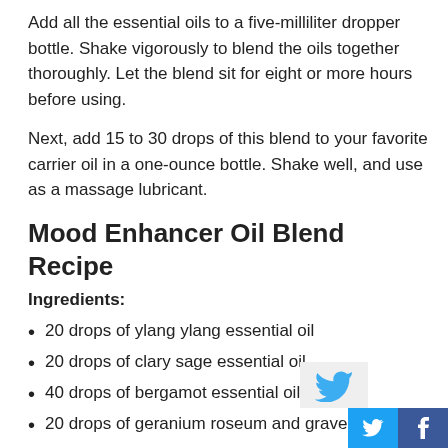Add all the essential oils to a five-milliliter dropper bottle. Shake vigorously to blend the oils together thoroughly. Let the blend sit for eight or more hours before using.
Next, add 15 to 30 drops of this blend to your favorite carrier oil in a one-ounce bottle. Shake well, and use as a massage lubricant.
Mood Enhancer Oil Blend Recipe
Ingredients:
20 drops of ylang ylang essential oil
20 drops of clary sage essential oil
40 drops of bergamot essential oil
20 drops of geranium roseum and graveolens
Directions